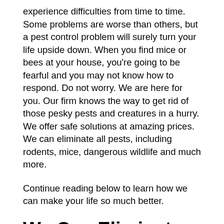experience difficulties from time to time. Some problems are worse than others, but a pest control problem will surely turn your life upside down. When you find mice or bees at your house, you're going to be fearful and you may not know how to respond. Do not worry. We are here for you. Our firm knows the way to get rid of those pesky pests and creatures in a hurry. We offer safe solutions at amazing prices. We can eliminate all pests, including rodents, mice, dangerous wildlife and much more.
Continue reading below to learn how we can make your life so much better.
We Can Eliminate Rats
Some fleas are annoying, but others are incredibly frightening. There is no doubt that rats will give you a serious fright. When you encounter rats on your...